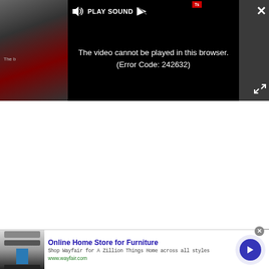[Figure (screenshot): Video player showing error message 'The video cannot be played in this browser. (Error Code: 242632)' with PLAY SOUND bar at top and close/expand controls. Dark background with partial video preview on left side.]
The video cannot be played in this browser. (Error Code: 242632)
[Figure (screenshot): Advertisement for Wayfair Online Home Store for Furniture with product image on left, text and arrow button on right.]
Online Home Store for Furniture
Shop Wayfair for A Zillion Things Home across all styles
www.wayfair.com